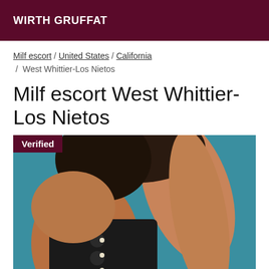WIRTH GRUFFAT
Milf escort / United States / California / West Whittier-Los Nietos
Milf escort West Whittier-Los Nietos
[Figure (photo): Photo of a person in black lace lingerie against a teal/blue background, with a 'Verified' badge overlay in the top-left corner.]